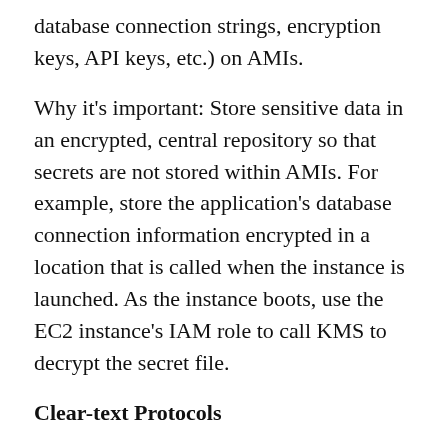database connection strings, encryption keys, API keys, etc.) on AMIs.
Why it's important: Store sensitive data in an encrypted, central repository so that secrets are not stored within AMIs. For example, store the application's database connection information encrypted in a location that is called when the instance is launched. As the instance boots, use the EC2 instance's IAM role to call KMS to decrypt the secret file.
Clear-text Protocols
Description: Should be the exception
Why it's important: Wherever possible do not use